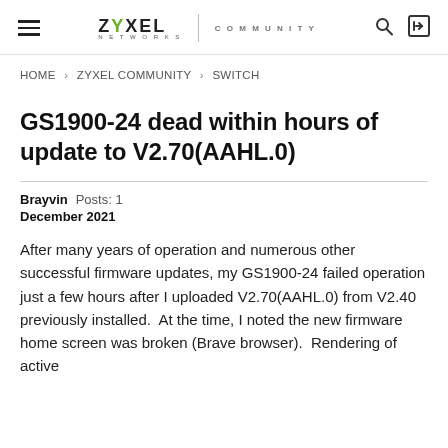ZYXEL NETWORKS | COMMUNITY
HOME › ZYXEL COMMUNITY › SWITCH
GS1900-24 dead within hours of update to V2.70(AAHL.0)
Brayvin  Posts: 1
December 2021
After many years of operation and numerous other successful firmware updates, my GS1900-24 failed operation just a few hours after I uploaded V2.70(AAHL.0) from V2.40 previously installed.  At the time, I noted the new firmware home screen was broken (Brave browser).  Rendering of active